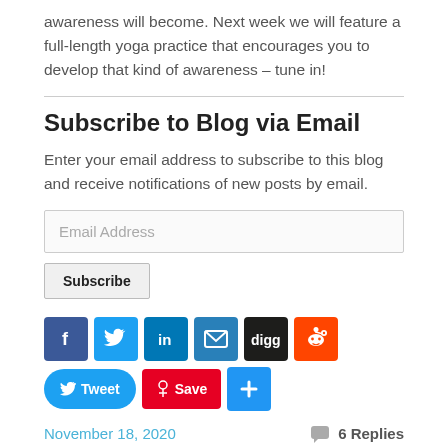awareness will become. Next week we will feature a full-length yoga practice that encourages you to develop that kind of awareness – tune in!
Subscribe to Blog via Email
Enter your email address to subscribe to this blog and receive notifications of new posts by email.
[Figure (other): Email address input field and Subscribe button]
[Figure (infographic): Social sharing icons: Facebook, Twitter, LinkedIn, Email, Digg, Reddit, Tweet button, Pinterest Save button, Share plus button]
November 18, 2020   6 Replies